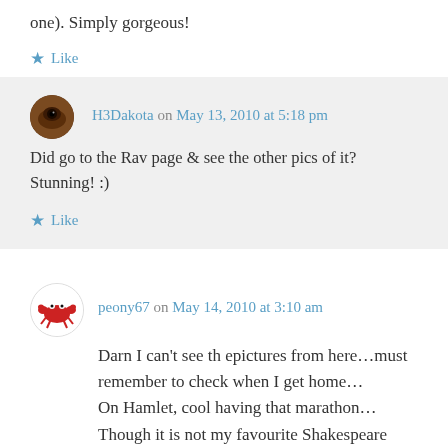one). Simply gorgeous!
Like
H3Dakota on May 13, 2010 at 5:18 pm
Did go to the Rav page & see the other pics of it? Stunning! :)
Like
peony67 on May 14, 2010 at 3:10 am
Darn I can't see th epictures from here…must remember to check when I get home… On Hamlet, cool having that marathon… Though it is not my favourite Shakespeare play, I still